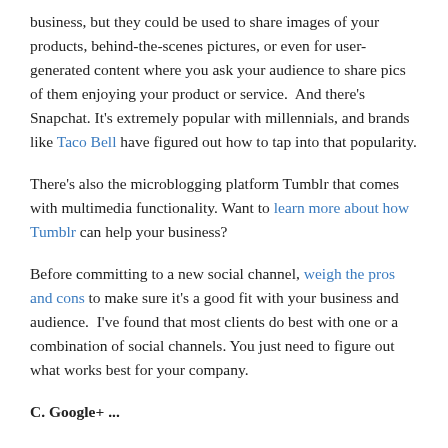business, but they could be used to share images of your products, behind-the-scenes pictures, or even for user-generated content where you ask your audience to share pics of them enjoying your product or service.  And there's Snapchat. It's extremely popular with millennials, and brands like Taco Bell have figured out how to tap into that popularity.
There's also the microblogging platform Tumblr that comes with multimedia functionality. Want to learn more about how Tumblr can help your business?
Before committing to a new social channel, weigh the pros and cons to make sure it's a good fit with your business and audience.  I've found that most clients do best with one or a combination of social channels. You just need to figure out what works best for your company.
C. Google+ ...